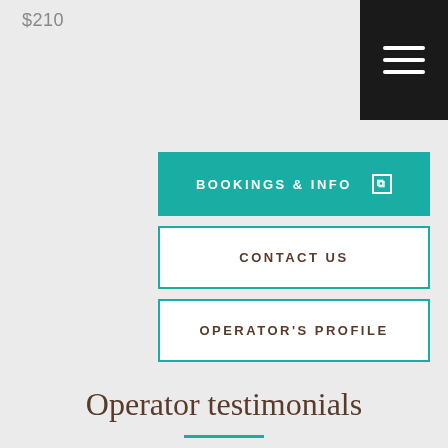$210
[Figure (other): Hamburger menu icon on black background, top-right corner]
BOOKINGS & INFO ↗
CONTACT US
OPERATOR'S PROFILE
Operator testimonials